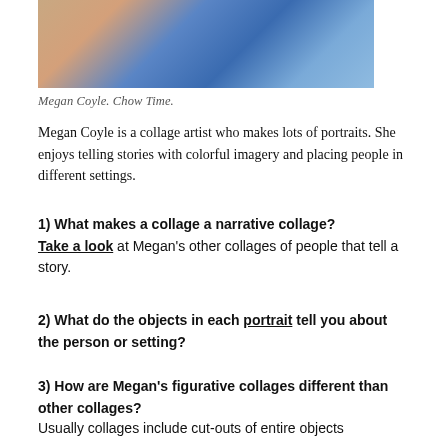[Figure (photo): Painting/collage artwork by Megan Coyle showing people with colorful blue and skin-tone imagery — Chow Time]
Megan Coyle. Chow Time.
Megan Coyle is a collage artist who makes lots of portraits. She enjoys telling stories with colorful imagery and placing people in different settings.
1) What makes a collage a narrative collage? Take a look at Megan's other collages of people that tell a story.
2) What do the objects in each portrait tell you about the person or setting?
3) How are Megan's figurative collages different than other collages?
Usually collages include cut-outs of entire objects that are called for an experience, and objects that are